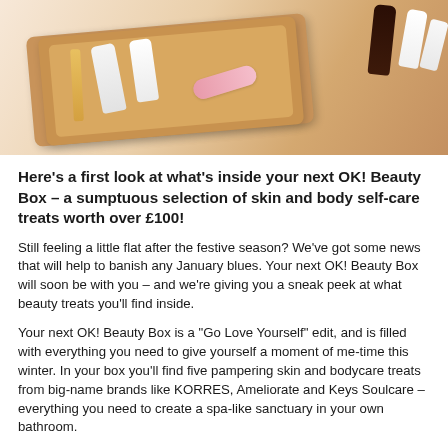[Figure (photo): Overhead photo of beauty/skincare products — small tubes and bottles arranged on a wooden bamboo tray on a light pink/peach surface]
Here's a first look at what's inside your next OK! Beauty Box – a sumptuous selection of skin and body self-care treats worth over £100!
Still feeling a little flat after the festive season? We've got some news that will help to banish any January blues. Your next OK! Beauty Box will soon be with you – and we're giving you a sneak peek at what beauty treats you'll find inside.
Your next OK! Beauty Box is a "Go Love Yourself" edit, and is filled with everything you need to give yourself a moment of me-time this winter. In your box you'll find five pampering skin and bodycare treats from big-name brands like KORRES, Ameliorate and Keys Soulcare – everything you need to create a spa-like sanctuary in your own bathroom.